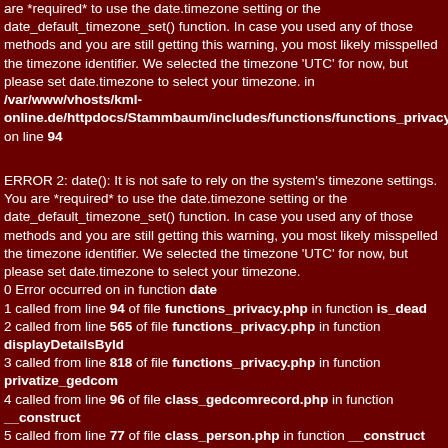are *required* to use the date.timezone setting or the date_default_timezone_set() function. In case you used any of those methods and you are still getting this warning, you most likely misspelled the timezone identifier. We selected the timezone 'UTC' for now, but please set date.timezone to select your timezone. in /var/www/vhosts/kml-online.de/httpdocs/Stammbaum/includes/functions/functions_privacy.ph on line 94
ERROR 2: date(): It is not safe to rely on the system's timezone settings. You are *required* to use the date.timezone setting or the date_default_timezone_set() function. In case you used any of those methods and you are still getting this warning, you most likely misspelled the timezone identifier. We selected the timezone 'UTC' for now, but please set date.timezone to select your timezone.
0 Error occurred on in function date
1 called from line 94 of file functions_privacy.php in function is_dead
2 called from line 565 of file functions_privacy.php in function displayDetailsById
3 called from line 818 of file functions_privacy.php in function privatize_gedcom
4 called from line 96 of file class_gedcomrecord.php in function __construct
5 called from line 77 of file class_person.php in function __construct
6 called from line 210 of file class_gedcomrecord.php in function getInstance
7 called from line 191 of file class_family.php in function loadChildren
8 called from line 157 of file class_family.php in function getChildren
9 called from line 1090 of file class_person.php in function add_children_facts
10 called from line 1274 of file class_person.php in function add_children_facts